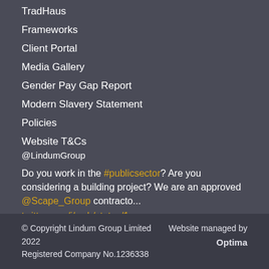TradHaus
Frameworks
Client Portal
Media Gallery
Gender Pay Gap Report
Modern Slavery Statement
Policies
Website T&Cs
@LindumGroup
Do you work in the #publicsector? Are you considering a building project? We are an approved @Scape_Group contracto... twitter.com/i/web/status/1...
15 hours ago
© Copyright Lindum Group Limited 2022
Registered Company No.1236338
Website managed by Optima